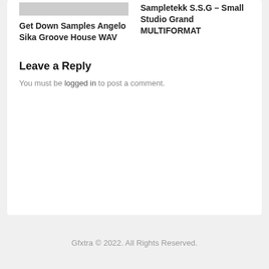Get Down Samples Angelo Sika Groove House WAV
Sampletekk S.S.G – Small Studio Grand MULTIFORMAT
Leave a Reply
You must be logged in to post a comment.
Gfxtra © 2022. All Rights Reserved.